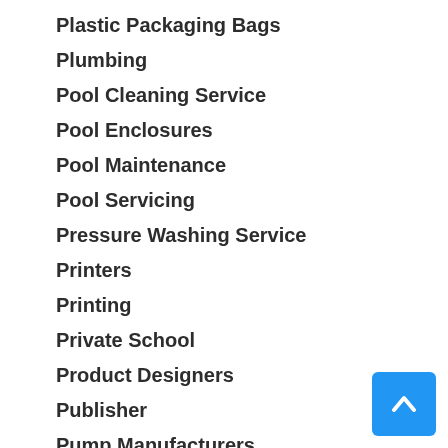Plastic Packaging Bags
Plumbing
Pool Cleaning Service
Pool Enclosures
Pool Maintenance
Pool Servicing
Pressure Washing Service
Printers
Printing
Private School
Product Designers
Publisher
Pump Manufacturers
Real Estate
Recruiter
Recycling
Refrigeration